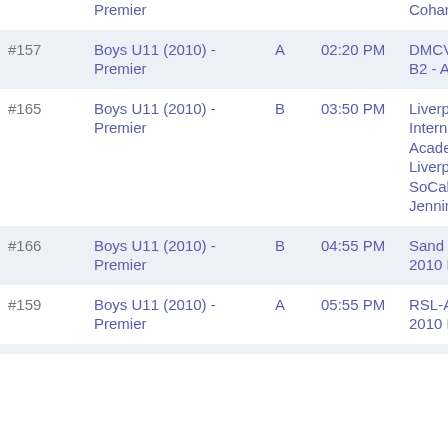| # | Division | Group | Time | Teams |
| --- | --- | --- | --- | --- |
|  | Premier |  |  | CohanIB... |
| #157 | Boys U11 (2010) - Premier | A | 02:20 PM | DMCV - Sharks B2 - Andrade |
| #165 | Boys U11 (2010) - Premier | B | 03:50 PM | Liverpool International Academy SoCal Liverpool IA SoCal 2 Jennings |
| #166 | Boys U11 (2010) - Premier | B | 04:55 PM | Sand and Boys 2010 Elite |
| #159 | Boys U11 (2010) - Premier | A | 05:55 PM | RSL-AZ R AZ 2010 Fresquez |